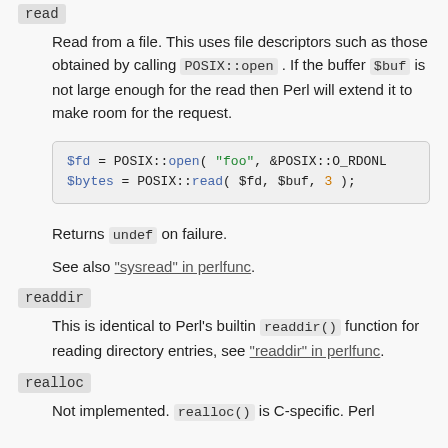read
Read from a file. This uses file descriptors such as those obtained by calling POSIX::open . If the buffer $buf is not large enough for the read then Perl will extend it to make room for the request.
[Figure (screenshot): Code block showing: $fd = POSIX::open( "foo", &POSIX::O_RDONL... and $bytes = POSIX::read( $fd, $buf, 3 );]
Returns undef on failure.
See also "sysread" in perlfunc.
readdir
This is identical to Perl's builtin readdir() function for reading directory entries, see "readdir" in perlfunc.
realloc
Not implemented. realloc() is C-specific. Perl